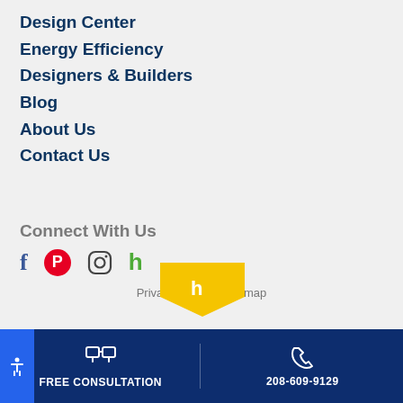Design Center
Energy Efficiency
Designers & Builders
Blog
About Us
Contact Us
Connect With Us
[Figure (other): Social media icons: Facebook, Pinterest, Instagram, Houzz]
Privacy Policy   Sitemap
[Figure (logo): Houzz logo flag shape in yellow/gold color]
FREE CONSULTATION   208-609-9129